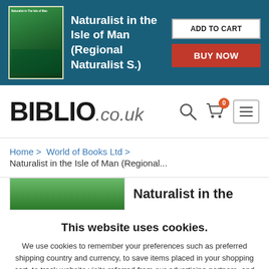[Figure (screenshot): Top banner with book cover image, title 'Naturalist in the Isle of Man (Regional Naturalist S.)', ADD TO CART button, and BUY NOW button on teal/dark blue background]
[Figure (logo): BIBLIO.co.uk logo with search icon, cart icon with badge showing 0, and hamburger menu icon]
Home >  World of Books Ltd >
Naturalist in the Isle of Man (Regional...
[Figure (screenshot): Partial product image (green book cover) and partial bold text 'Naturalist in the']
This website uses cookies.
We use cookies to remember your preferences such as preferred shipping country and currency, to save items placed in your shopping cart, to track website visits referred from our advertising partners, and to analyze our website traffic. Manage your privacy settings.
AGREE AND CLOSE